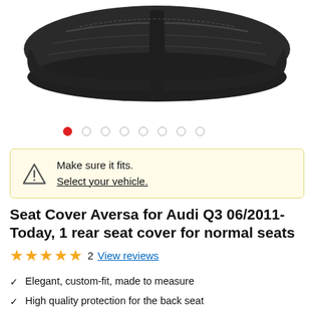[Figure (photo): Black seat cover product photo shown from above, a rear seat cover for Audi Q3]
[Figure (other): Carousel navigation dots — 8 dots, first one filled red indicating current slide]
Make sure it fits. Select your vehicle.
Seat Cover Aversa for Audi Q3 06/2011-Today, 1 rear seat cover for normal seats
★★★★★ 2 View reviews
Elegant, custom-fit, made to measure
High quality protection for the back seat
Scope of Delivery: 1 Rear Seat Cover, Head Rest Covers,
Backrest 3/3 1/3 divided